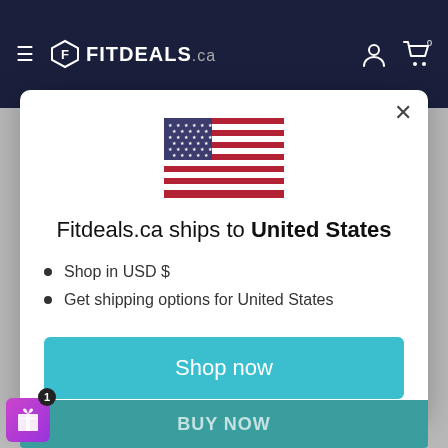[Figure (screenshot): Fitdeals.ca website header with dark navy background, hamburger menu, logo, user and cart icons]
[Figure (illustration): United States flag emoji]
Fitdeals.ca ships to United States
Shop in USD $
Get shipping options for United States
Shop now
Change shipping country